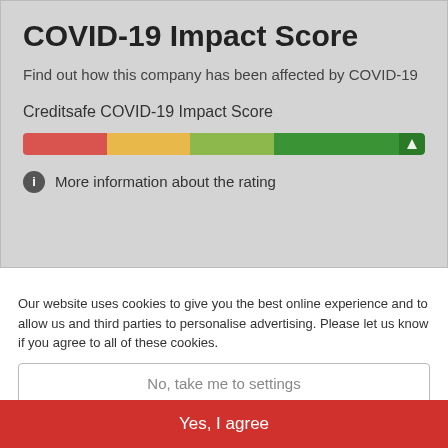COVID-19 Impact Score
Find out how this company has been affected by COVID-19
Creditsafe COVID-19 Impact Score
[Figure (infographic): A horizontal color gradient bar ranging from red on the left through yellow and light green to dark green on the right, with an indicator at the far right end.]
More information about the rating
Our website uses cookies to give you the best online experience and to allow us and third parties to personalise advertising. Please let us know if you agree to all of these cookies.
No, take me to settings
Yes, I agree